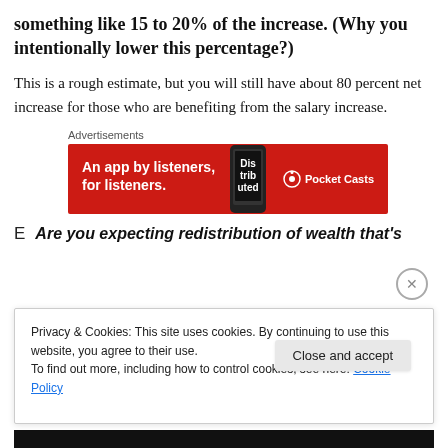something like 15 to 20% of the increase. (Why you intentionally lower this percentage?)
This is a rough estimate, but you will still have about 80 percent net increase for those who are benefiting from the salary increase.
[Figure (other): Advertisement banner for Pocket Casts: 'An app by listeners, for listeners.' with red background, phone image, and Pocket Casts logo]
E  Are you expecting redistribution of wealth that's
Privacy & Cookies: This site uses cookies. By continuing to use this website, you agree to their use.
To find out more, including how to control cookies, see here: Cookie Policy